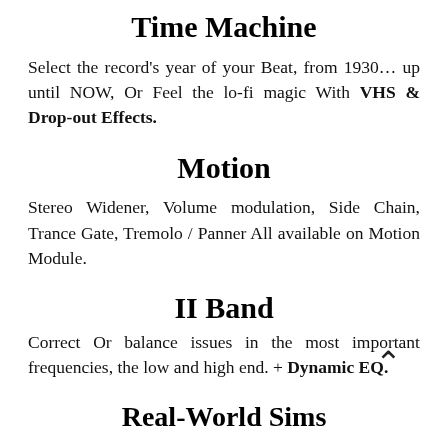Time Machine
Select the record's year of your Beat, from 1930… up until NOW, Or Feel the lo-fi magic With VHS & Drop-out Effects.
Motion
Stereo Widener, Volume modulation, Side Chain, Trance Gate, Tremolo / Panner All available on Motion Module.
II Band
Correct Or balance issues in the most important frequencies, the low and high end. + Dynamic EQ.
Real-World Sims
Realistic emulation of different types of